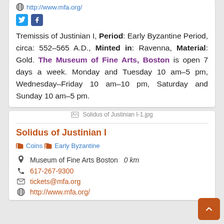http://www.mfa.org/
[Figure (screenshot): Twitter and Facebook social media icons]
Tremissis of Justinian I, Period: Early Byzantine Period, circa: 552–565 A.D., Minted in: Ravenna, Material: Gold. The Museum of Fine Arts, Boston is open 7 days a week. Monday and Tuesday 10 am–5 pm, Wednesday–Friday 10 am–10 pm, Saturday and Sunday 10 am–5 pm.
[Figure (screenshot): Broken image placeholder showing Solidus of Justinian I-1.jpg]
Solidus of Justinian I-1.jpg
Solidus of Justinian I
Coins  Early Byzantine
Museum of Fine Arts Boston  0 km
617-267-9300
tickets@mfa.org
http://www.mfa.org/